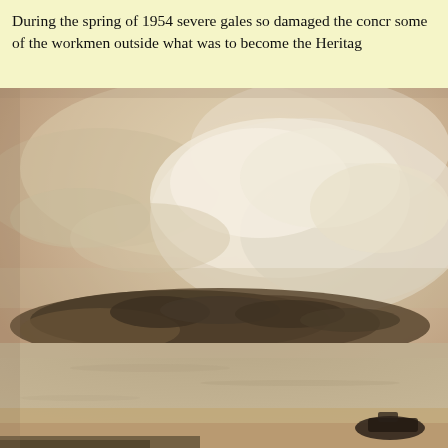During the spring of 1954 severe gales so damaged the concr some of the workmen outside what was to become the Heritag
[Figure (photo): Sepia-toned historical photograph showing a coastal or estuary scene with a tree-covered headland or island in the middle distance, calm water in the foreground, dramatic cloudy sky above, and a small dark object (possibly a boat or vehicle) in the lower right foreground. The image is cropped and the right edge is cut off.]